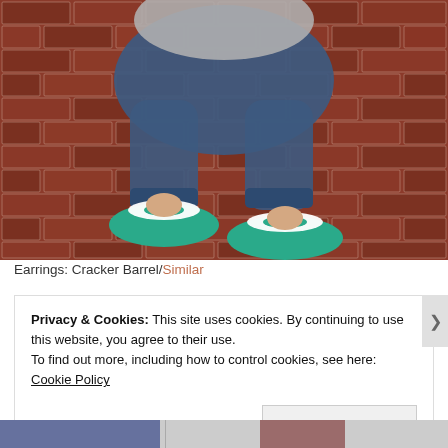[Figure (photo): Person sitting on red brick floor wearing teal/white flat shoes with small teal bows, wearing jeans and a grey sweater, viewed from waist down.]
Earrings: Cracker Barrel/Similar
Privacy & Cookies: This site uses cookies. By continuing to use this website, you agree to their use.
To find out more, including how to control cookies, see here: Cookie Policy
Close and accept